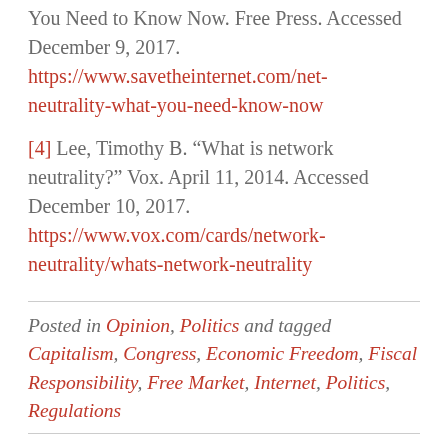You Need to Know Now. Free Press. Accessed December 9, 2017. https://www.savetheinternet.com/net-neutrality-what-you-need-know-now
[4] Lee, Timothy B. “What is network neutrality?” Vox. April 11, 2014. Accessed December 10, 2017. https://www.vox.com/cards/network-neutrality/whats-network-neutrality
Posted in Opinion, Politics and tagged Capitalism, Congress, Economic Freedom, Fiscal Responsibility, Free Market, Internet, Politics, Regulations
← Immigration on Fire: So Why